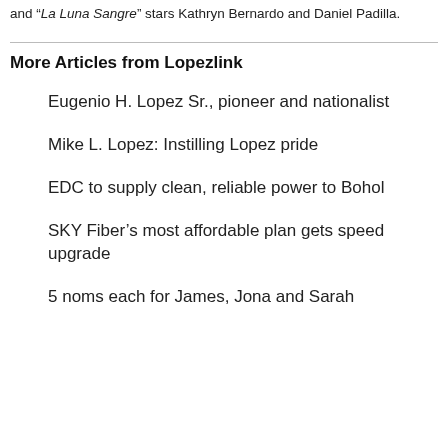and “La Luna Sangre” stars Kathryn Bernardo and Daniel Padilla.
More Articles from Lopezlink
Eugenio H. Lopez Sr., pioneer and nationalist
Mike L. Lopez: Instilling Lopez pride
EDC to supply clean, reliable power to Bohol
SKY Fiber’s most affordable plan gets speed upgrade
5 noms each for James, Jona and Sarah